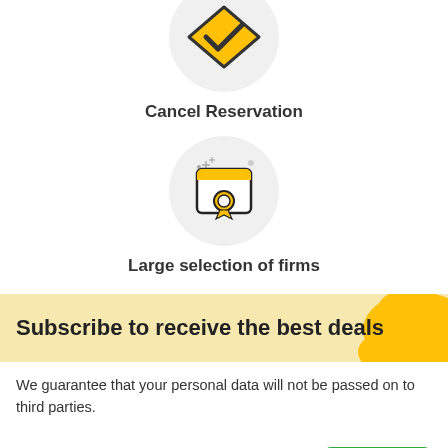[Figure (illustration): Cancel Reservation icon: yellow and black checkmark/cancel symbol inside a light gray circle, partially cropped at top]
Cancel Reservation
[Figure (illustration): Large selection of firms icon: certificate/award document with a medal/ribbon icon inside, yellow top bar, with sparkle/star decorations around it, inside a light gray circle]
Large selection of firms
Subscribe to receive the best deals
We guarantee that your personal data will not be passed on to third parties.
username@gmail.com
Subscribe